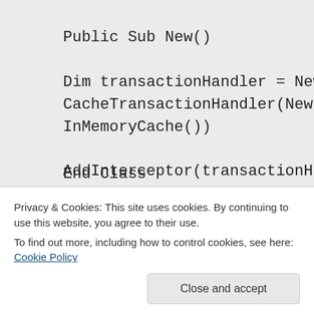Public Sub New()
Dim transactionHandler = New CacheTransactionHandler(New InMemoryCache())
AddInterceptor(transactionHandler)
Dim CachingPolicy = New CachingPolicy
AddHandler Loaded, Sub(sender As Object, e As DbConfigurationLoadedEventArgs)
e.ReplaceService(Of DbProviderServices)
(Function(serviceInterceptor As
End Class
Privacy & Cookies: This site uses cookies. By continuing to use this website, you agree to their use.
To find out more, including how to control cookies, see here: Cookie Policy